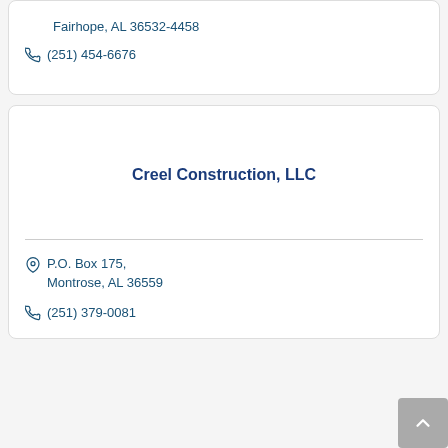Fairhope, AL 36532-4458
(251) 454-6676
Creel Construction, LLC
P.O. Box 175, Montrose, AL 36559
(251) 379-0081